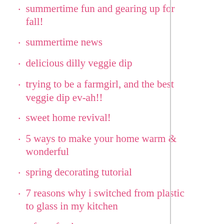summertime fun and gearing up for fall!
summertime news
delicious dilly veggie dip
trying to be a farmgirl, and the best veggie dip ev-ah!!
sweet home revival!
5 ways to make your home warm & wonderful
spring decorating tutorial
7 reasons why i switched from plastic to glass in my kitchen
a farm fresh new year
aunt ruthie's christmas home tour
sweetie-licious pies cookbook and the cutest pie maker in the whole wide world
my top 5 reasons why fun family traditions are important